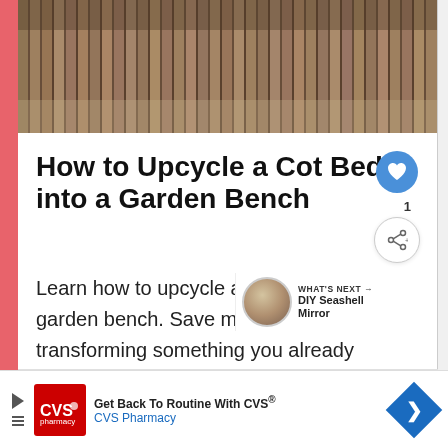[Figure (photo): Close-up photo of wooden deck or fence slats, horizontal wood planks in brown/tan tones]
How to Upcycle a Cot Bed into a Garden Bench
Learn how to upcycle a cot bed into a garden bench. Save money by transforming something you already own into summery garden furniture! Includes paint recommendations and instructions
[Figure (illustration): DIY Seashell Mirror thumbnail - small circular image showing seashell mirror craft project, labeled WHAT'S NEXT]
Get Back To Routine With CVS® CVS Pharmacy